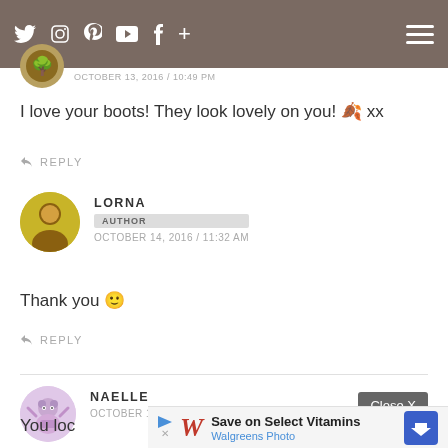Navigation bar with social icons and hamburger menu
OCTOBER 13, 2016 / 10:49 PM
I love your boots! They look lovely on you! 🍂 xx
↩ REPLY
LORNA
AUTHOR
OCTOBER 14, 2016 / 11:32 AM
Thank you 🙂
↩ REPLY
NAELLE
OCTOBER 15, 2016 / 9:17 AM
You loc...
[Figure (infographic): Ad banner: Save on Select Vitamins - Walgreens Photo with blue arrow icon]